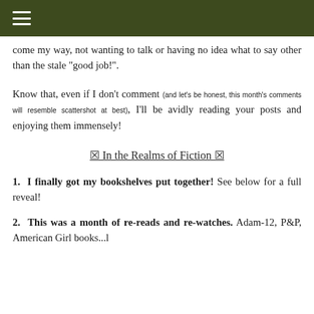☰
come my way, not wanting to talk or having no idea what to say other than the stale "good job!".
Know that, even if I don't comment (and let's be honest, this month's comments will resemble scattershot at best), I'll be avidly reading your posts and enjoying them immensely!
⬛ In the Realms of Fiction ⬛
1. I finally got my bookshelves put together! See below for a full reveal!
2. This was a month of re-reads and re-watches. Adam-12, P&P, American Girl books...l